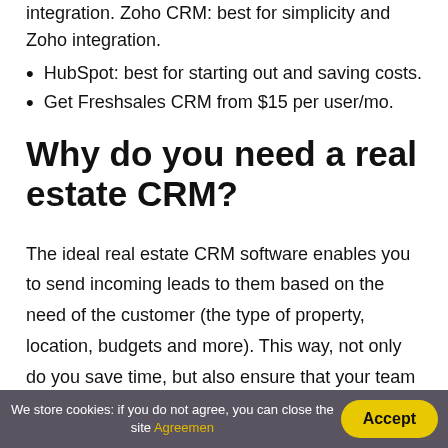integration. Zoho CRM: best for simplicity and Zoho integration.
HubSpot: best for starting out and saving costs.
Get Freshsales CRM from $15 per user/mo.
Why do you need a real estate CRM?
The ideal real estate CRM software enables you to send incoming leads to them based on the need of the customer (the type of property, location, budgets and more). This way, not only do you save time, but also ensure that your team members work on just the
We store cookies: if you do not agree, you can close the site Agreement